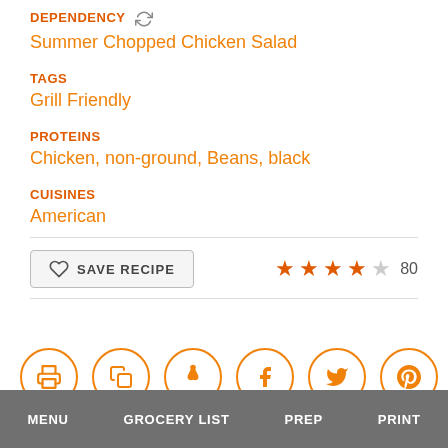DEPENDENCY
Summer Chopped Chicken Salad
TAGS
Grill Friendly
PROTEINS
Chicken, non-ground, Beans, black
CUISINES
American
SAVE RECIPE  ★★★★☆ 80
[Figure (other): Row of 6 circular icon buttons: print, copy, person/figure, facebook, twitter, pinterest]
MENU   GROCERY LIST   PREP   PRINT